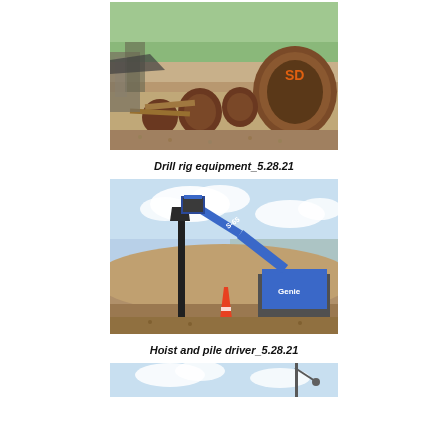[Figure (photo): Drill rig equipment on a construction site showing large cylindrical metal auger bits and other equipment on dirt/gravel ground, with 'SD' painted in orange on the barrel.]
Drill rig equipment_5.28.21
[Figure (photo): A blue Genie S-65 boom lift hoist operating on a dirt mound at a construction site, with a pile driver post visible and an orange traffic cone on the ground.]
Hoist and pile driver_5.28.21
[Figure (photo): Partial view of a construction site with sky and what appears to be a street light or crane arm visible at the bottom of the page.]